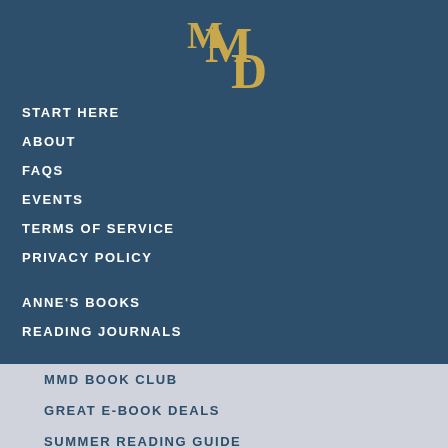[Figure (logo): MMD logo with gold serif letters M, M, D on dark blue background]
START HERE
ABOUT
FAQS
EVENTS
TERMS OF SERVICE
PRIVACY POLICY
ANNE'S BOOKS
READING JOURNALS
MMD BOOK CLUB
GREAT E-BOOK DEALS
SUMMER READING GUIDE